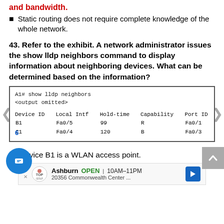and bandwidth.
Static routing does not require complete knowledge of the whole network.
43. Refer to the exhibit. A network administrator issues the show lldp neighbors command to display information about neighboring devices. What can be determined based on the information?
[Figure (screenshot): Terminal output showing: A1# show lldp neighbors, <output omitted>, table with columns Device ID, Local Intf, Hold-time, Capability, Port ID. Row 1: B1, Fa0/5, 99, R, Fa0/1. Row 2: C1, Fa0/4, 120, B, Fa0/3. Number 6 shown at bottom left.]
Device B1 is a WLAN access point.
[Figure (infographic): Topgolf Ashburn advertisement: OPEN 10AM-11PM, 20356 Commonwealth Center..., with navigation arrow icon]